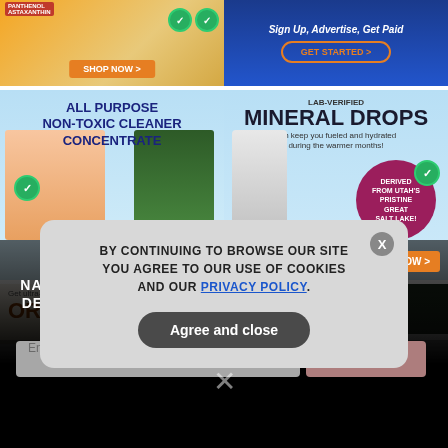[Figure (screenshot): Top-left advertisement for Astaxanthin product with 'SHOP NOW >' orange button]
[Figure (screenshot): Top-right advertisement: 'Sign Up, Advertise, Get Paid' with 'GET STARTED >' button on blue background]
[Figure (screenshot): Mid-left advertisement for 'ALL PURPOSE NON-TOXIC CLEANER CONCENTRATE' with woman holding cleaning products and green bottles, light blue background, 'SHOP NOW >' orange button]
[Figure (screenshot): Mid-right advertisement: 'LAB-VERIFIED MINERAL DROPS can keep you fueled and hydrated during the warmer months!' with pink badge 'DERIVED FROM UTAH'S PRISTINE GREAT SALT LAKE!' and 'SHOP NOW >' orange button]
[Figure (screenshot): Bottom-left partial ad: 'Get ultra-clean, high-quality Cocoa with HRS' and large 'ORGANIC' text]
[Figure (screenshot): Bottom-right partial ad: 'SURVIVAL' text in green on dark background]
GET THE WORLD'S BEST NATURAL HEALTH NEWSLETTER DELIVERED STRAIGHT TO YOUR INBOX
Enter Your Email Address
SUBSCRIBE
BY CONTINUING TO BROWSE OUR SITE YOU AGREE TO OUR USE OF COOKIES AND OUR PRIVACY POLICY.
Agree and close